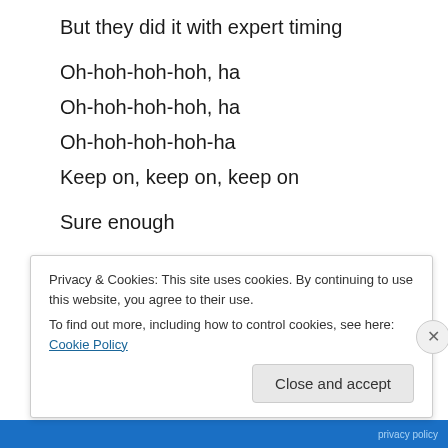But they did it with expert timing
Oh-hoh-hoh-hoh, ha
Oh-hoh-hoh-hoh, ha
Oh-hoh-hoh-hoh-ha
Keep on, keep on, keep on
Sure enough
Everybody was Kung Fu fighting
Those kids were fast as lightning
In fact it was a little bit fright'ning
Make sure you have expert timing
Privacy & Cookies: This site uses cookies. By continuing to use this website, you agree to their use.
To find out more, including how to control cookies, see here: Cookie Policy